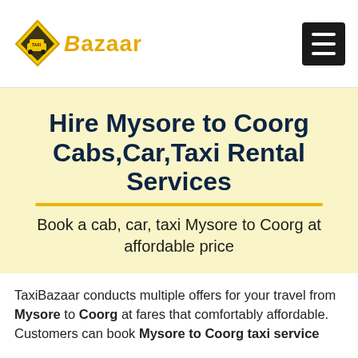[Figure (logo): TaxiBazaar logo with diamond taxi icon and stylized gold 'Bazaar' text]
Hire Mysore to Coorg Cabs,Car,Taxi Rental Services
Book a cab, car, taxi Mysore to Coorg at affordable price
TaxiBazaar conducts multiple offers for your travel from Mysore to Coorg at fares that comfortably affordable. Customers can book Mysore to Coorg taxi service